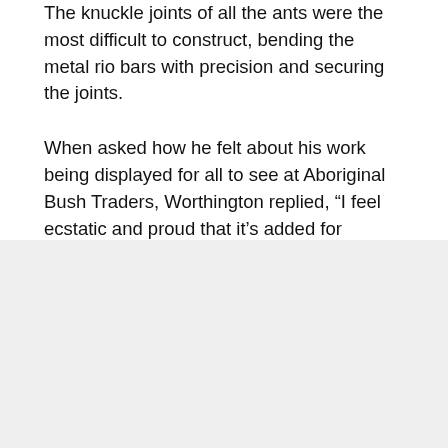The knuckle joints of all the ants were the most difficult to construct, bending the metal rio bars with precision and securing the joints.
When asked how he felt about his work being displayed for all to see at Aboriginal Bush Traders, Worthington replied, “I feel ecstatic and proud that it’s added for everybody to look at.” When asked what is coming next? “I’m working on a 3D barramundi made of wood.”